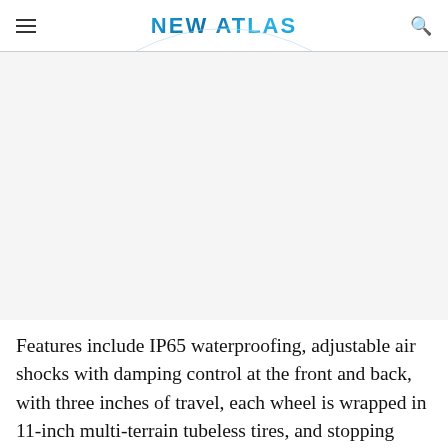NEW ATLAS
[Figure (photo): Large image area (blank/white placeholder) occupying the space below the header]
Features include IP65 waterproofing, adjustable air shocks with damping control at the front and back, with three inches of travel, each wheel is wrapped in 11-inch multi-terrain tubeless tires, and stopping